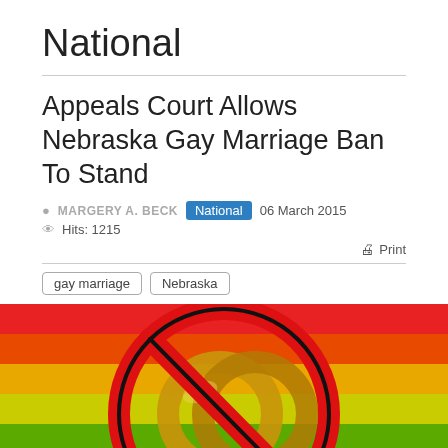National
Appeals Court Allows Nebraska Gay Marriage Ban To Stand
MARGERY A. BECK   National   06 March 2015
Hits: 1215
Print
gay marriage
Nebraska
[Figure (photo): Rainbow flag background with a red prohibition circle/ban symbol overlaid on golden wedding rings]